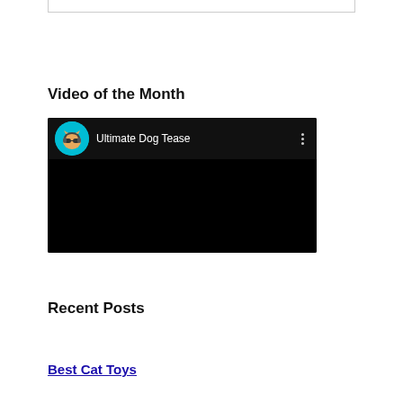[Figure (screenshot): Top border of a content box, showing bottom edge of a bordered rectangle]
Video of the Month
[Figure (screenshot): Embedded video player showing 'Ultimate Dog Tease' with a cat avatar wearing sunglasses and headphones on a teal background, black main video area, three-dot menu icon]
Recent Posts
Best Cat Toys